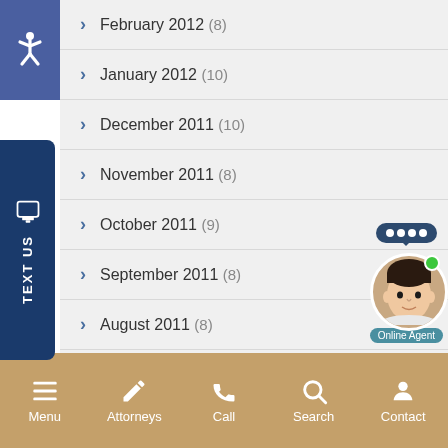February 2012 (8)
January 2012 (10)
December 2011 (10)
November 2011 (8)
October 2011 (9)
September 2011 (8)
August 2011 (8)
[Figure (illustration): Online agent chat widget with female agent photo and green online indicator]
Menu  Attorneys  Call  Search  Contact